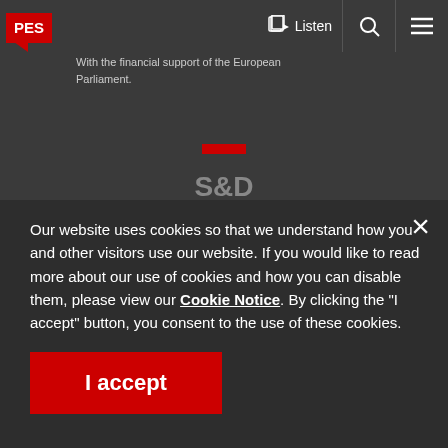PES
Listen
With the financial support of the European Parliament.
[Figure (logo): S&D logo with red bar above the text S&D on dark background]
Our website uses cookies so that we understand how you and other visitors use our website. If you would like to read more about our use of cookies and how you can disable them, please view our Cookie Notice. By clicking the "I accept" button, you consent to the use of these cookies.
I accept